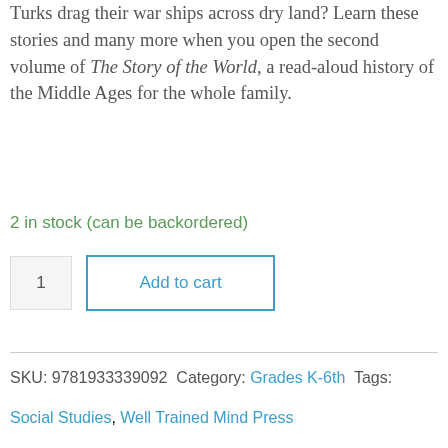Turks drag their war ships across dry land? Learn these stories and many more when you open the second volume of The Story of the World, a read-aloud history of the Middle Ages for the whole family.
2 in stock (can be backordered)
1  Add to cart
SKU: 9781933339092  Category: Grades K-6th  Tags:
Social Studies, Well Trained Mind Press